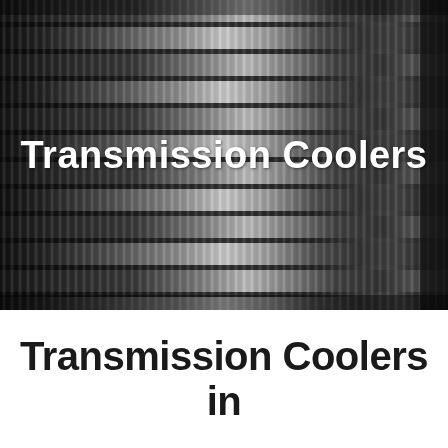[Figure (photo): Close-up black and white photograph of transmission cooler fins/radiator core showing horizontal corrugated metal fins with reflective surfaces]
Transmission Coolers
Transmission Coolers in